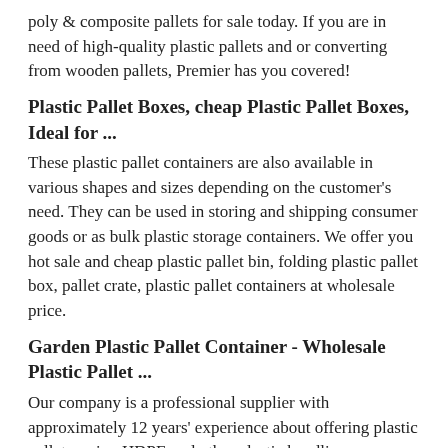poly & composite pallets for sale today. If you are in need of high-quality plastic pallets and or converting from wooden pallets, Premier has you covered!
Plastic Pallet Boxes, cheap Plastic Pallet Boxes, Ideal for ...
These plastic pallet containers are also available in various shapes and sizes depending on the customer's need. They can be used in storing and shipping consumer goods or as bulk plastic storage containers. We offer you hot sale and cheap plastic pallet bin, folding plastic pallet box, pallet crate, plastic pallet containers at wholesale price.
Garden Plastic Pallet Container - Wholesale Plastic Pallet ...
Our company is a professional supplier with approximately 12 years' experience about offering plastic pallets, using HDPE and other plastic handling ...